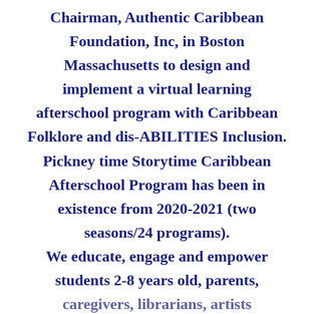Chairman, Authentic Caribbean Foundation, Inc, in Boston Massachusetts to design and implement a virtual learning afterschool program with Caribbean Folklore and dis-ABILITIES Inclusion. Pickney time Storytime Caribbean Afterschool Program has been in existence from 2020-2021 (two seasons/24 programs). We educate, engage and empower students 2-8 years old, parents, caregivers, librarians, artists